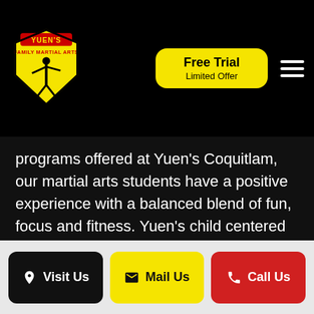[Figure (logo): Yuen's Family Martial Arts logo with yellow shield, red text, and karate figure]
Free Trial
Limited Offer
programs offered at Yuen's Coquitlam, our martial arts students have a positive experience with a balanced blend of fun, focus and fitness. Yuen's child centered martial arts programs will demonstrate to students how to make their lives a constant and never-ending journey of life-changing improvement.
Visit Us
Mail Us
Call Us